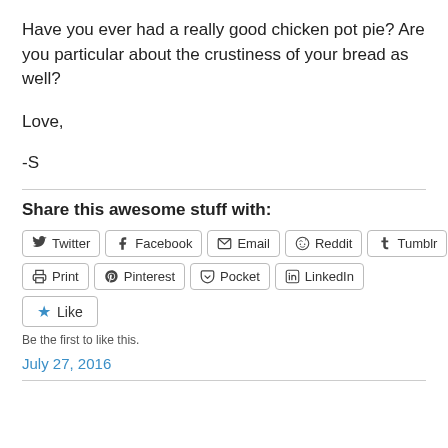Have you ever had a really good chicken pot pie? Are you particular about the crustiness of your bread as well?
Love,
-S
Share this awesome stuff with:
Twitter Facebook Email Reddit Tumblr Print Pinterest Pocket LinkedIn
Like
Be the first to like this.
July 27, 2016